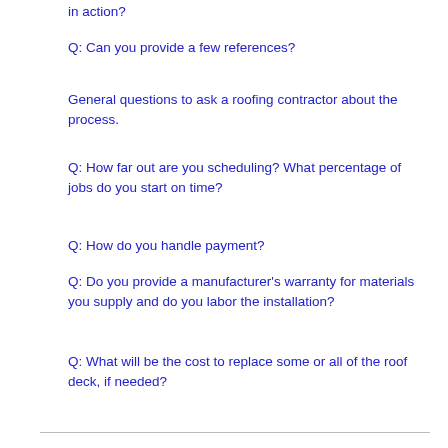in action?
Q: Can you provide a few references?
General questions to ask a roofing contractor about the process.
Q: How far out are you scheduling? What percentage of jobs do you start on time?
Q: How do you handle payment?
Q: Do you provide a manufacturer's warranty for materials you supply and do you labor the installation?
Q: What will be the cost to replace some or all of the roof deck, if needed?
Tile Roofing | Roof Installation Or Replacement | Roof Repair | Rubber Roofing | Flat Roofing | Metal Roofing | Reroofing / Re-covering | Asphalt Shingle Roofing